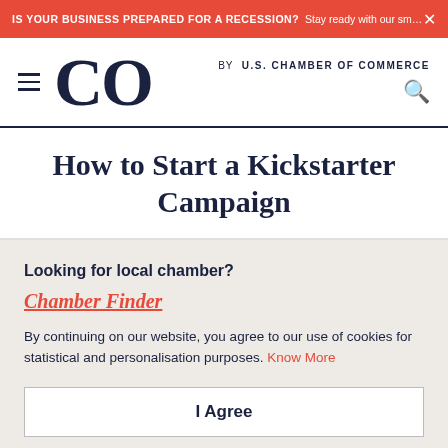IS YOUR BUSINESS PREPARED FOR A RECESSION? Stay ready with our small busin... ×
CO by U.S. CHAMBER OF COMMERCE
How to Start a Kickstarter Campaign
Looking for local chamber?
Chamber Finder
By continuing on our website, you agree to our use of cookies for statistical and personalisation purposes. Know More
I Agree